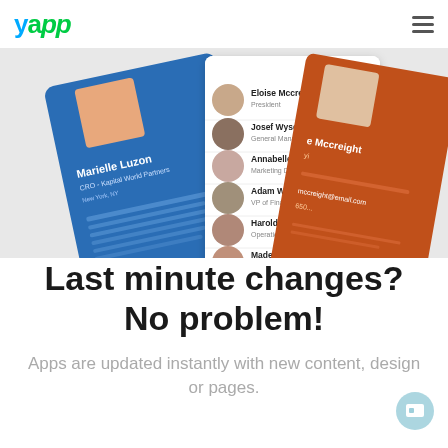[Figure (logo): Yapp logo in top left header area with colorful letters]
[Figure (screenshot): Three overlapping mobile app screenshots showing contact profiles including Marielle Luzon CRO Kapital World Partners, and a list of people including Eloise Mccreight, Josef Wyse, Annabelle Pane, Adam Warkentin, Harold Gips, Madeleine Macy on various colored backgrounds (blue, white, orange)]
Last minute changes? No problem!
Apps are updated instantly with new content, design or pages.